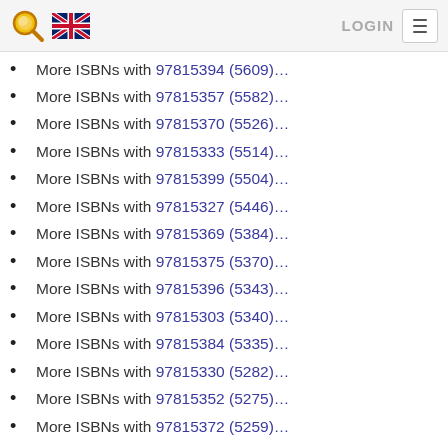LOGIN ≡
More ISBNs with 97815394 (5609)…
More ISBNs with 97815357 (5582)…
More ISBNs with 97815370 (5526)…
More ISBNs with 97815333 (5514)…
More ISBNs with 97815399 (5504)…
More ISBNs with 97815327 (5446)…
More ISBNs with 97815369 (5384)…
More ISBNs with 97815375 (5370)…
More ISBNs with 97815396 (5343)…
More ISBNs with 97815303 (5340)…
More ISBNs with 97815384 (5335)…
More ISBNs with 97815330 (5282)…
More ISBNs with 97815352 (5275)…
More ISBNs with 97815372 (5259)…
More ISBNs with 97815308 (5245)…
More ISBNs with 97815374 (5241)…